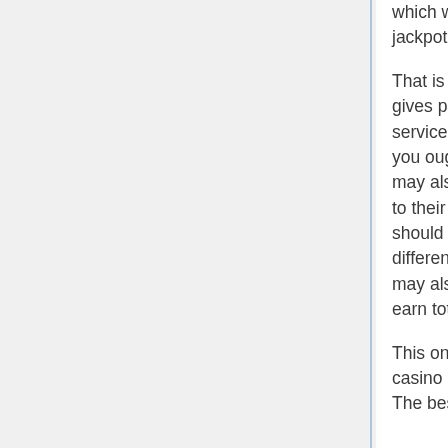which will be able to assist you to win massive jackpots.
That is perhaps the best casino at Malaysia that gives players with top excellent casino drama services. If you want to find out more about this, you ought to visit their official site. This website may also make it possible for one to gain access to their stay match. Visitors to this internet site should have the ability to find info about all the different kinds of promotions they are jogging. You may also enroll for any promotions, so you could earn totally free credits.
This online casino features an assortment of casino games, which is quite enticing for people. The best